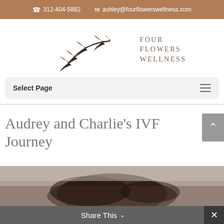312-404-5882  ashley@fourflowerswellness.com
[Figure (logo): Four Flowers Wellness logo with ginkgo leaf branch illustration and text FOUR FLOWERS WELLNESS]
Select Page
Audrey and Charlie’s IVF Journey
[Figure (photo): Partial photo of a person lying down with dark hair, bottom of page]
Share This